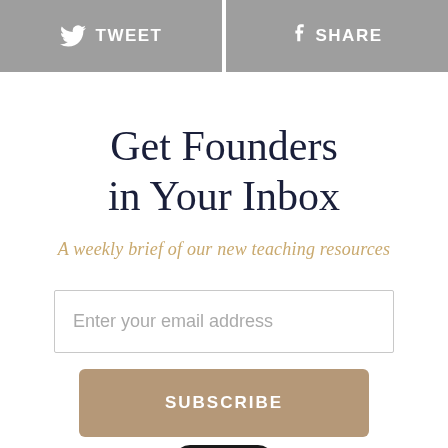[Figure (other): Two social sharing buttons side by side: a grey Twitter/Tweet button on the left with bird icon and text TWEET, and a grey Facebook/Share button on the right with f icon and text SHARE]
Get Founders in Your Inbox
A weekly brief of our new teaching resources
[Figure (other): Email input field with placeholder text 'Enter your email address' and a tan/gold SUBSCRIBE button below it, followed by a partial view of a smartphone showing the app]
Enter your email address
SUBSCRIBE